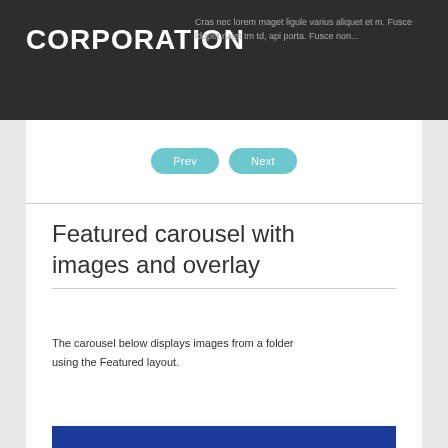CORPORATION
Cras nec lorem maget ligule varius aliquet et m. Fusce ldqpet najet tm td, api porta. Fusce non...
[Figure (screenshot): Prev and Next navigation buttons rendered as rounded teal/cyan buttons]
Featured carousel with images and overlay
The carousel below displays images from a folder using the Featured layout.
[Figure (other): Blue banner strip at bottom of page]